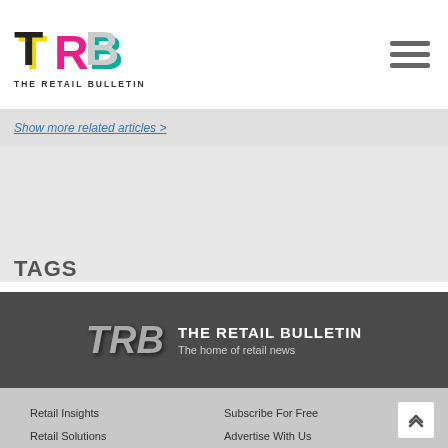THE RETAIL BULLETIN
Show more related articles >
TAGS
[Figure (logo): THE RETAIL BULLETIN - The home of retail news banner in dark gray background with TRB logo]
Retail Insights
Retail Solutions
Virtual Events
About us
Contact us
Interviews
Subscribe For Free
Advertise With Us
Terms & Policies
Privacy Policy
Account Login
Site Map
The Retail Bulletin
1st Floor
57-59 High Street
VAT No: 908604130
Company registration number: 6136675
Tel: 01276 489626